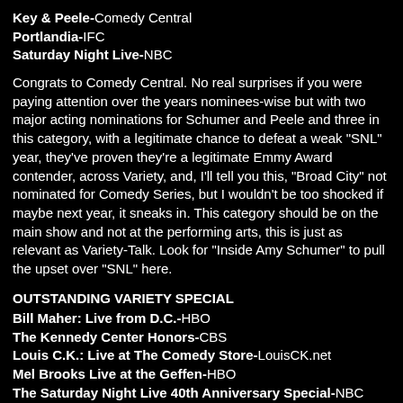Key & Peele-Comedy Central
Portlandia-IFC
Saturday Night Live-NBC
Congrats to Comedy Central. No real surprises if you were paying attention over the years nominees-wise but with two major acting nominations for Schumer and Peele and three in this category, with a legitimate chance to defeat a weak "SNL" year, they've proven they're a legitimate Emmy Award contender, across Variety, and, I'll tell you this, "Broad City" not nominated for Comedy Series, but I wouldn't be too shocked if maybe next year, it sneaks in. This category should be on the main show and not at the performing arts, this is just as relevant as Variety-Talk. Look for "Inside Amy Schumer" to pull the upset over "SNL" here.
OUTSTANDING VARIETY SPECIAL
Bill Maher: Live from D.C.-HBO
The Kennedy Center Honors-CBS
Louis C.K.: Live at The Comedy Store-LouisCK.net
Mel Brooks Live at the Geffen-HBO
The Saturday Night Live 40th Anniversary Special-NBC